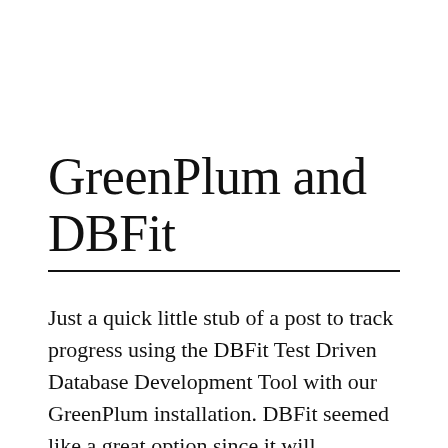GreenPlum and DBFit
Just a quick little stub of a post to track progress using the DBFit Test Driven Database Development Tool with our GreenPlum installation. DBFit seemed like a great option since it will theoretically support both GreenPlum and SQL Server.   I ran through the getting started documentation on the DBFit site fairly quickly and had the initial [...]